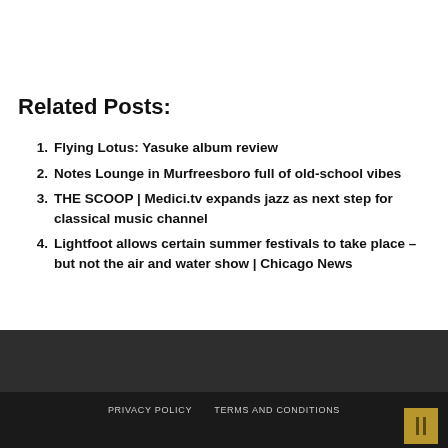Related Posts:
Flying Lotus: Yasuke album review
Notes Lounge in Murfreesboro full of old-school vibes
THE SCOOP | Medici.tv expands jazz as next step for classical music channel
Lightfoot allows certain summer festivals to take place – but not the air and water show | Chicago News
PRIVACY POLICY   TERMS AND CONDITIONS